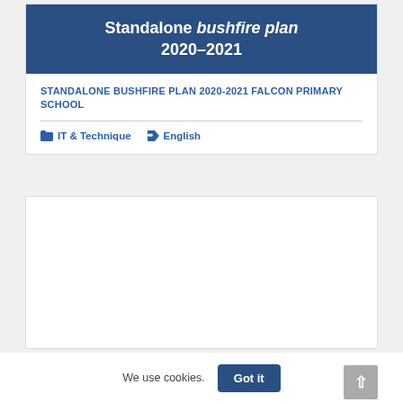[Figure (illustration): Dark blue banner with white bold text: Standalone bushfire plan 2020-2021]
STANDALONE BUSHFIRE PLAN 2020-2021 FALCON PRIMARY SCHOOL
IT & Technique   English
[Figure (screenshot): Empty white card/panel below the first card]
We use cookies.